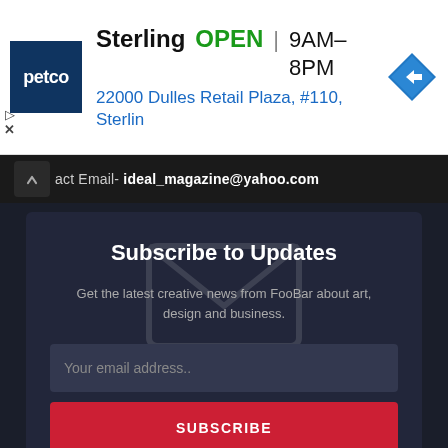[Figure (other): Petco advertisement banner showing store name Sterling, OPEN status, hours 9AM–8PM, address 22000 Dulles Retail Plaza, #110, Sterlin, with Petco logo and navigation arrow icon]
act Email- ideal_magazine@yahoo.com
Subscribe to Updates
Get the latest creative news from FooBar about art, design and business.
Your email address..
SUBSCRIBE
Agree to the our terms and policy agreement.